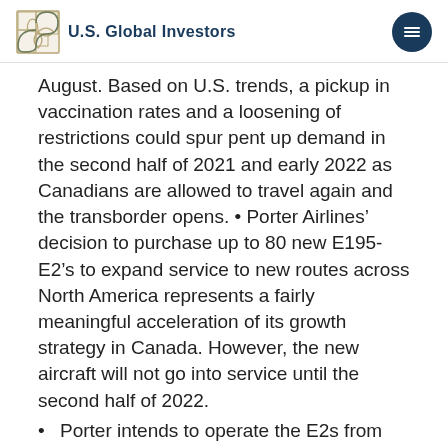U.S. Global Investors
August. Based on U.S. trends, a pickup in vaccination rates and a loosening of restrictions could spur pent up demand in the second half of 2021 and early 2022 as Canadians are allowed to travel again and the transborder opens. • Porter Airlines' decision to purchase up to 80 new E195-E2's to expand service to new routes across North America represents a fairly meaningful acceleration of its growth strategy in Canada. However, the new aircraft will not go into service until the second half of 2022.
Porter intends to operate the E2s from popular destinations such as